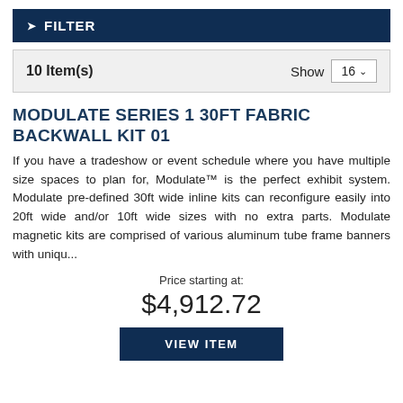FILTER
10 Item(s)   Show 16
MODULATE SERIES 1 30FT FABRIC BACKWALL KIT 01
If you have a tradeshow or event schedule where you have multiple size spaces to plan for, Modulate™ is the perfect exhibit system. Modulate pre-defined 30ft wide inline kits can reconfigure easily into 20ft wide and/or 10ft wide sizes with no extra parts. Modulate magnetic kits are comprised of various aluminum tube frame banners with uniqu…
Price starting at:
$4,912.72
VIEW ITEM